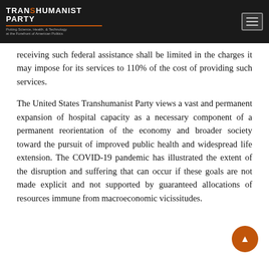TRANSHUMANIST PARTY — Putting Science, Health, & Technology at the Forefront of American Politics
receiving such federal assistance shall be limited in the charges it may impose for its services to 110% of the cost of providing such services.
The United States Transhumanist Party views a vast and permanent expansion of hospital capacity as a necessary component of a permanent reorientation of the economy and broader society toward the pursuit of improved public health and widespread life extension. The COVID-19 pandemic has illustrated the extent of the disruption and suffering that can occur if these goals are not made explicit and not supported by guaranteed allocations of resources immune from macroeconomic vicissitudes.